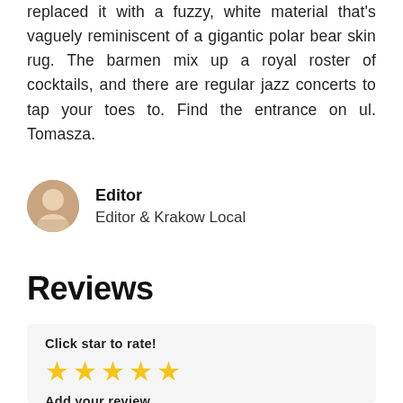replaced it with a fuzzy, white material that's vaguely reminiscent of a gigantic polar bear skin rug. The barmen mix up a royal roster of cocktails, and there are regular jazz concerts to tap your toes to. Find the entrance on ul. Tomasza.
Editor
Editor & Krakow Local
Reviews
Click star to rate!
★★★★★
Add your review